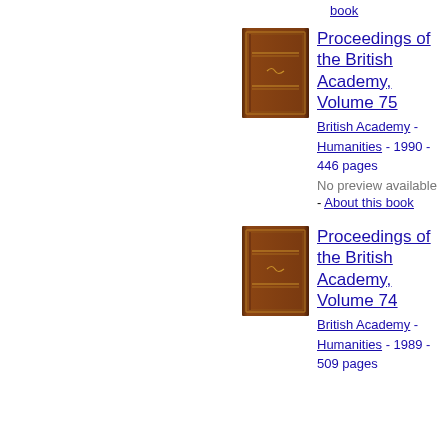book
[Figure (illustration): Dark brown book cover for Proceedings of the British Academy, Volume 75]
Proceedings of the British Academy, Volume 75
British Academy - Humanities - 1990 - 446 pages
No preview available - About this book
[Figure (illustration): Dark brown book cover for Proceedings of the British Academy, Volume 74]
Proceedings of the British Academy, Volume 74
British Academy - Humanities - 1989 - 509 pages